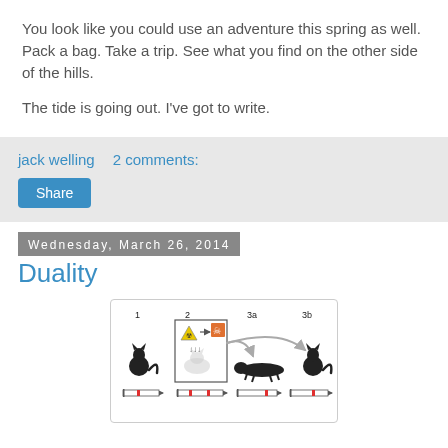You look like you could use an adventure this spring as well. Pack a bag. Take a trip. See what you find on the other side of the hills.

The tide is going out. I've got to write.
jack welling   2 comments:
Share
Wednesday, March 26, 2014
Duality
[Figure (illustration): Schrödinger's cat diagram showing 4 panels labeled 1, 2, 3a, 3b: a live cat, a box with radioactive symbol and skull icon with a fading cat, a dead cat lying flat, and a live cat sitting, with probability timeline bars below each panel.]